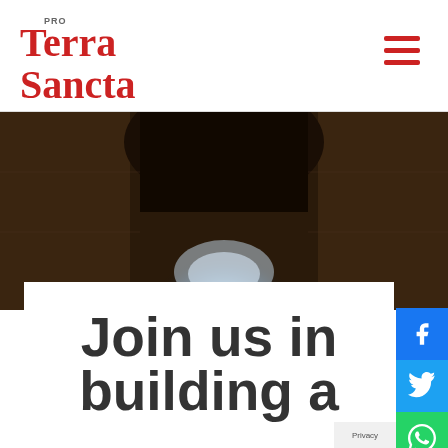Pro Terra Sancta
[Figure (photo): Dark stone corridor or archway with a glowing blue/white light source illuminating decorative stonework or mosaic in the foreground]
Join us in building a